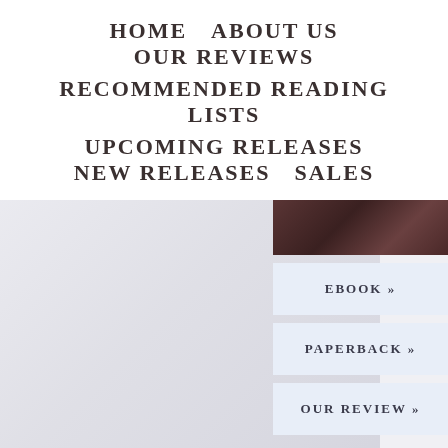HOME   ABOUT US   OUR REVIEWS   RECOMMENDED READING LISTS   UPCOMING RELEASES   NEW RELEASES   SALES
[Figure (screenshot): Book cover thumbnail visible at top right, with a dark reddish-brown background]
EBOOK »
PAPERBACK »
OUR REVIEW »
Scarred Souls Series (Da